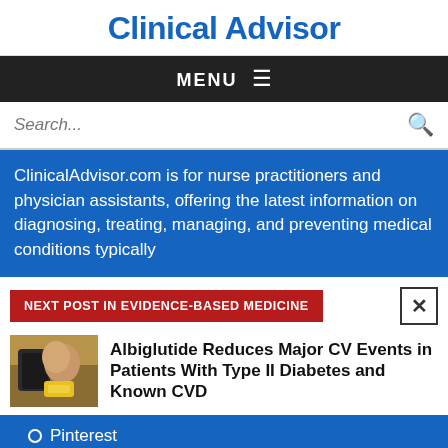Clinical Advisor
MENU ≡
Search...
ClinicalAdvisor.com is for nurse practitioners and physician assistants, offering the latest information on diagnosing, treating, managing, and preventing medical conditions typically
NEXT POST IN EVIDENCE-BASED MEDICINE
[Figure (photo): Person checking blood sugar or receiving medical treatment, wearing a yellow top]
Albiglutide Reduces Major CV Events in Patients With Type II Diabetes and Known CVD
Pinterest
RSS